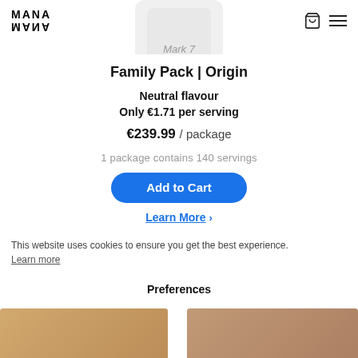MANA
[Figure (photo): Product image of Mana Mark 7 package, white container partially cropped at top]
Family Pack | Origin
Neutral flavour
Only €1.71 per serving
€239.99 / package
1 package contains 140 servings
Add to Cart
Learn More >
This website uses cookies to ensure you get the best experience.
Learn more
Preferences
[Figure (photo): Product images at bottom, partially cropped]
[Figure (photo): Second product image at bottom, partially cropped]